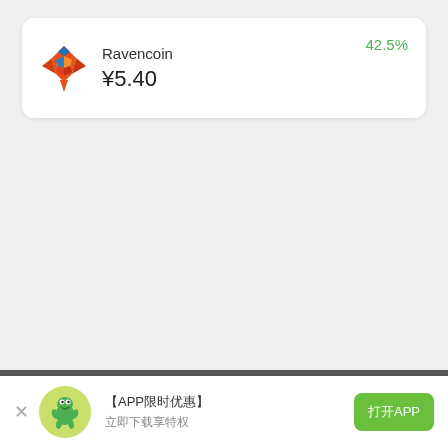[Figure (infographic): Ravencoin cryptocurrency card showing bird logo, coin name, price in yen ¥5.40, and 42.5% positive change]
Ravencoin ¥5.40 42.5%
[Figure (infographic): Bottom app install banner with gecko app icon, promotional text, and install button]
【APP限时优惠】 立即下载享特权 打开APP